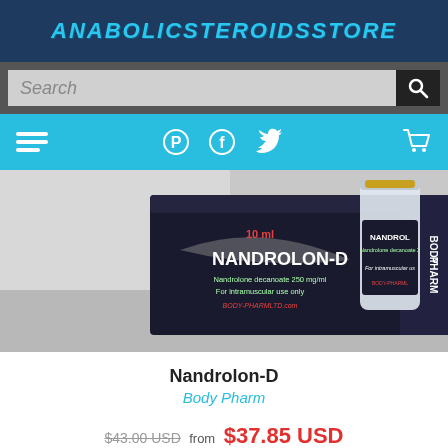ANABOLICSTEROIDSSTORE
Search
[Figure (screenshot): Website navigation bar with menu icon, Pinterest, Facebook, Twitter social icons and cart icon on a cyan/light blue background]
[Figure (photo): Photo of Nandrolon-D product: a black box labeled NANDROLON-D 10ml Nandrolone decanoate 250 mg/ml For intramuscular use only BODY-PHARMLTD.com, and a small glass vial with a black label, both from Body Pharm]
Nandrolon-D
Body Pharm
$43.00 USD from $37.85 USD